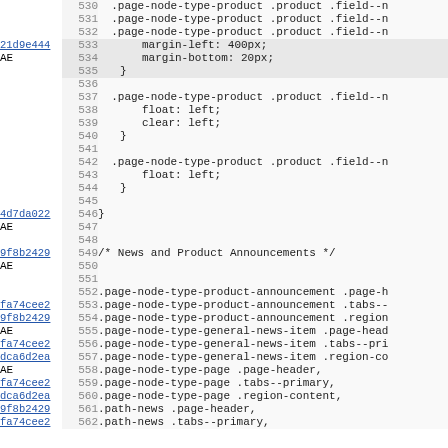Code viewer showing lines 530–562 of a CSS file with git blame annotations (commit hashes: 21d9e444, 4d7da022, 9f8b2429, fa74cee2, dca6d2ea). Lines include CSS rules for .page-node-type-product, .page-node-type-product-announcement, .page-node-type-general-news-item, .page-node-type-page, and .path-news selectors.